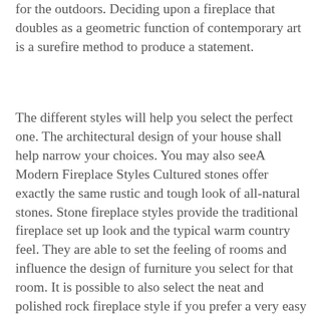for the outdoors. Deciding upon a fireplace that doubles as a geometric function of contemporary art is a surefire method to produce a statement.
The different styles will help you select the perfect one. The architectural design of your house shall help narrow your choices. You may also seeA Modern Fireplace Styles Cultured stones offer exactly the same rustic and tough look of all-natural stones. Stone fireplace styles provide the traditional fireplace set up look and the typical warm country feel. They are able to set the feeling of rooms and influence the design of furniture you select for that room. It is possible to also select the neat and polished rock fireplace style if you prefer a very easy and modern-day fireplace.
Designing your have fireplace is a simple task if you're going to use natural rock. There are many different rock types that might provide you an amazing selection of designs. It is very important to think carefully about what kind of designs will work in your house and which types that you would enjoy and discover the most make use of out of before you begin looking for you to buy. You will discover that there's a